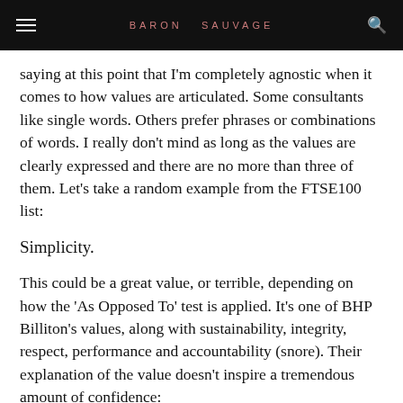BARON SAUVAGE
saying at this point that I'm completely agnostic when it comes to how values are articulated. Some consultants like single words. Others prefer phrases or combinations of words. I really don't mind as long as the values are clearly expressed and there are no more than three of them. Let's take a random example from the FTSE100 list:
Simplicity.
This could be a great value, or terrible, depending on how the 'As Opposed To' test is applied. It's one of BHP Billiton's values, along with sustainability, integrity, respect, performance and accountability (snore). Their explanation of the value doesn't inspire a tremendous amount of confidence: